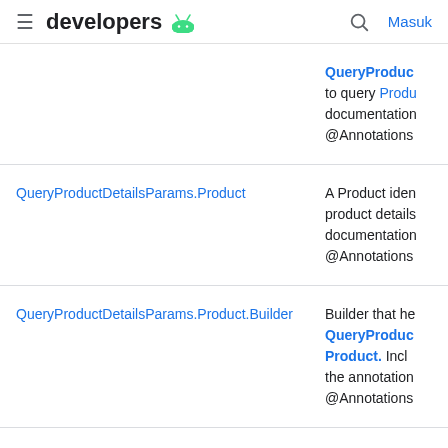developers [android logo] | [search] Masuk
| Class | Description |
| --- | --- |
| QueryProductDetailsParams (truncated) | QueryProdu... to query Produ... documentation @Annotations |
| QueryProductDetailsParams.Product | A Product iden product details documentation @Annotations |
| QueryProductDetailsParams.Product.Builder | Builder that he QueryProdu... Product. Incl the annotation @Annotations |
| QueryPurchaseHistoryParams | Parameters to purchase histo documentation |